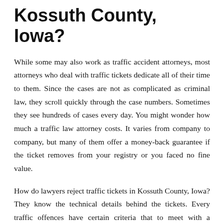Kossuth County, Iowa?
While some may also work as traffic accident attorneys, most attorneys who deal with traffic tickets dedicate all of their time to them. Since the cases are not as complicated as criminal law, they scroll quickly through the case numbers. Sometimes they see hundreds of cases every day. You might wonder how much a traffic law attorney costs. It varies from company to company, but many of them offer a money-back guarantee if the ticket removes from your registry or you faced no fine value.
How do lawyers reject traffic tickets in Kossuth County, Iowa? They know the technical details behind the tickets. Every traffic offences have certain criteria that to meet with a rejection of traffic tickets. They know, if something (an important document, for example) is missing, the ticket is invalid and legal law will discard it. If the ticket issues are